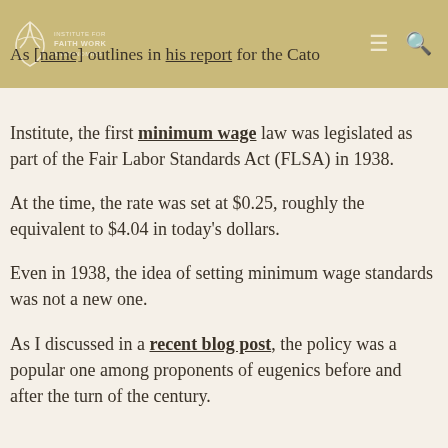Institute for Faith Work & Economics
As [name] outlines in his report for the Cato Institute, the first minimum wage law was legislated as part of the Fair Labor Standards Act (FLSA) in 1938.
At the time, the rate was set at $0.25, roughly the equivalent to $4.04 in today's dollars.
Even in 1938, the idea of setting minimum wage standards was not a new one.
As I discussed in a recent blog post, the policy was a popular one among proponents of eugenics before and after the turn of the century.